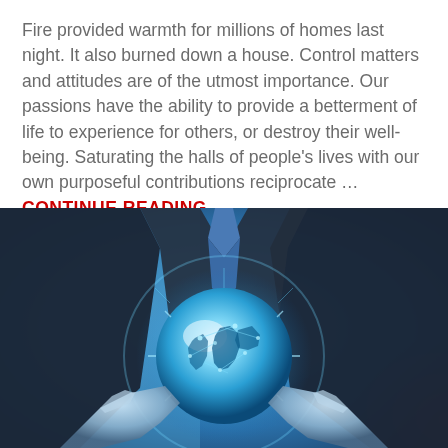Fire provided warmth for millions of homes last night. It also burned down a house. Control matters and attitudes are of the utmost importance. Our passions have the ability to provide a betterment of life to experience for others, or destroy their well-being. Saturating the halls of people's lives with our own purposeful contributions reciprocate … CONTINUE READING
[Figure (photo): A person in a dark business suit holding a glowing blue holographic Earth globe with network connection lights, set against a blurred blue background.]